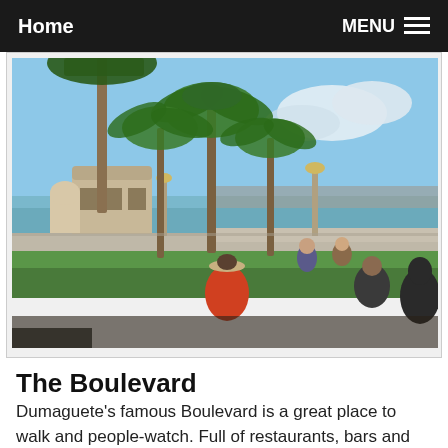Home   MENU
[Figure (photo): Outdoor photo of Dumaguete Boulevard waterfront promenade with tall palm trees, a colonial-style building on the left, lamp posts along the path, people sitting on the grass and concrete sea wall, and a calm blue sea visible in the background under a blue sky with white clouds.]
The Boulevard
Dumaguete's famous Boulevard is a great place to walk and people-watch. Full of restaurants, bars and people.